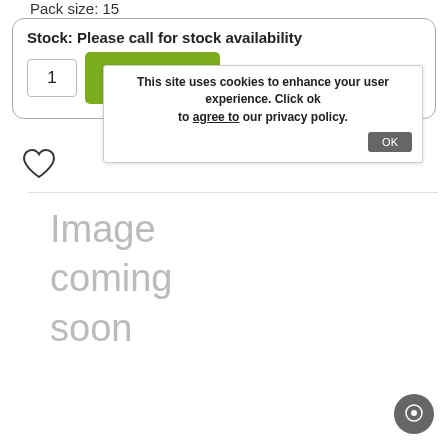Pack size: 15
Stock: Please call for stock availability
This site uses cookies to enhance your user experience. Click ok to agree to our privacy policy.
1
Add to basket
OK
[Figure (illustration): Heart/wishlist icon (outline heart shape)]
[Figure (illustration): Image coming soon placeholder text in grey]
[Figure (illustration): Round grey chat button in bottom right corner]